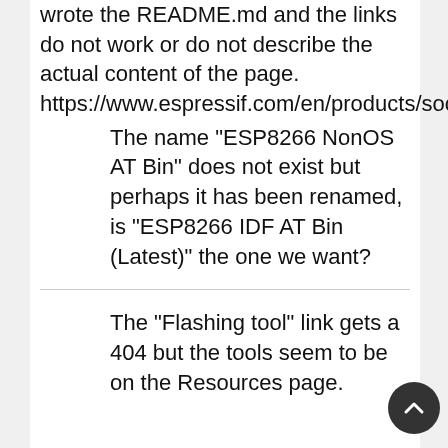wrote the README.md and the links do not work or do not describe the actual content of the page. https://www.espressif.com/en/products/socs/esp8266ex/resources
The name "ESP8266 NonOS AT Bin" does not exist but perhaps it has been renamed, is "ESP8266 IDF AT Bin (Latest)" the one we want?
The "Flashing tool" link gets a 404 but the tools seem to be on the Resources page.